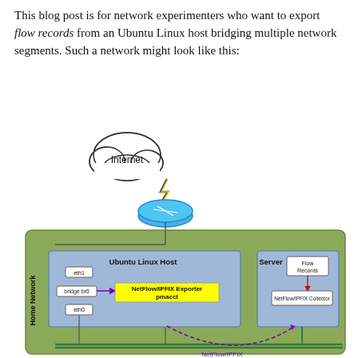This blog post is for network experimenters who want to export flow records from an Ubuntu Linux host bridging multiple network segments. Such a network might look like this:
[Figure (network-graph): Network diagram showing an Ubuntu Linux host bridging multiple network segments. A cloud labeled 'Internet' connects via a lightning bolt to a blue router/switch. Below is a green 'Home Network' box containing: an Ubuntu Linux Host box with interfaces eth1, bridge br0, eth0, and a yellow box for 'NetFlow/IPFIX Exporter pmacct'. A Server box on the right contains 'Flow Records' and 'NetFlow/IPFIX Collector'. A dashed arc labeled 'NetFlow/IPFIX' connects the Ubuntu host to the collector. Green lines represent the network bus. 'Other devices on home network' label at the bottom.]